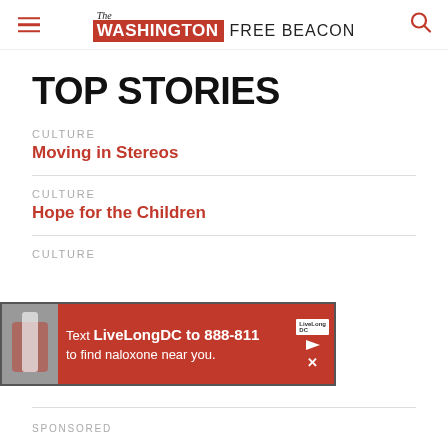The Washington Free Beacon
TOP STORIES
CULTURE
Moving in Stereos
CULTURE
Hope for the Children
CULTURE
[Figure (other): Advertisement banner: Text LiveLongDC to 888-811 to find naloxone near you.]
SPONSORED